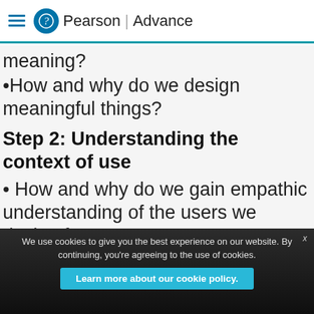Pearson | Advance
meaning?
•How and why do we design meaningful things?
Step 2: Understanding the context of use
• How and why do we gain empathic understanding of the users we design for?
• How do we derive insights to inspire the design process?
We use cookies to give you the best experience on our website. By continuing, you're agreeing to the use of cookies.
Learn more about our cookie policy.